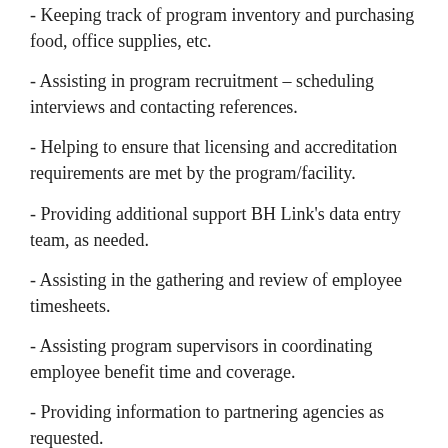- Keeping track of program inventory and purchasing food, office supplies, etc.
- Assisting in program recruitment – scheduling interviews and contacting references.
- Helping to ensure that licensing and accreditation requirements are met by the program/facility.
- Providing additional support BH Link's data entry team, as needed.
- Assisting in the gathering and review of employee timesheets.
- Assisting program supervisors in coordinating employee benefit time and coverage.
- Providing information to partnering agencies as requested.
- Scheduling and attending meetings as appropriate.
- Providing miscellaneous administrative support to the BH Link program as needed
Skills
· Effectively multitasks and is well organized.